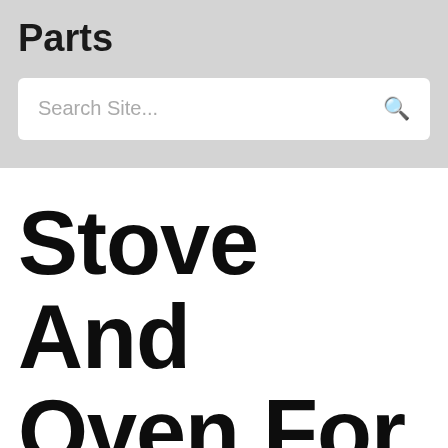Parts
Search Site...
Stove And Oven For Sale